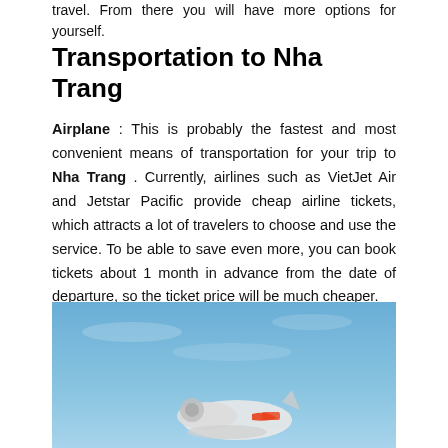travel. From there you will have more options for yourself.
Transportation to Nha Trang
Airplane : This is probably the fastest and most convenient means of transportation for your trip to Nha Trang . Currently, airlines such as VietJet Air and Jetstar Pacific provide cheap airline tickets, which attracts a lot of travelers to choose and use the service. To be able to save even more, you can book tickets about 1 month in advance from the date of departure, so the ticket price will be much cheaper.
[Figure (photo): A cargo or transport aircraft against a blue sky, with what appears to be a propeller and orange/red markings visible.]